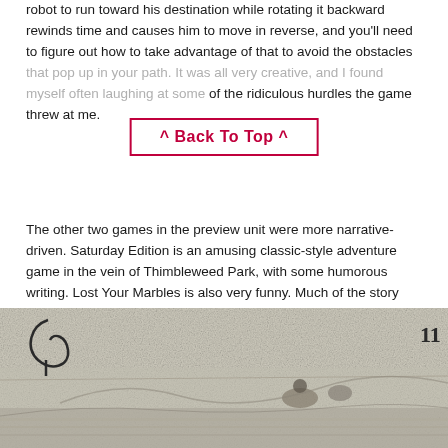robot to run toward his destination while rotating it backward rewinds time and causes him to move in reverse, and you'll need to figure out how to take advantage of that to avoid the obstacles that pop up in your path. It was all very creative, and I found myself often laughing at some of the ridiculous hurdles the game threw at me.
^ Back To Top ^
The other two games in the preview unit were more narrative-driven. Saturday Edition is an amusing classic-style adventure game in the vein of Thimbleweed Park, with some humorous writing. Lost Your Marbles is also very funny. Much of the story here is choice-driven, but you make choices by guiding a marble through different mazes and smashing different options. This results in some often inadvertent but comical choices. At one point, you need to select a photo of your missing dog to use on a poster along with what you want to write. Thanks to my very clumsy maneuvering of the marble, my poster ended up featuring a photo of the dog's butt with a vague "Help!" written at the top.
[Figure (illustration): A grainy newspaper-style illustration showing a scene with figures, with the number 11 in the upper right corner and a curved line or letter on the upper left.]